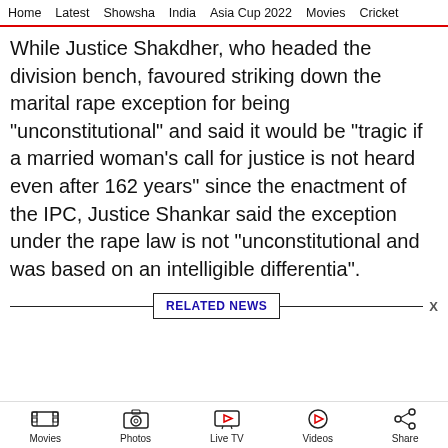Home  Latest  Showsha  India  Asia Cup 2022  Movies  Cricket
While Justice Shakdher, who headed the division bench, favoured striking down the marital rape exception for being "unconstitutional" and said it would be "tragic if a married woman's call for justice is not heard even after 162 years" since the enactment of the IPC, Justice Shankar said the exception under the rape law is not "unconstitutional and was based on an intelligible differentia".
RELATED NEWS
Movies  Photos  Live TV  Videos  Share